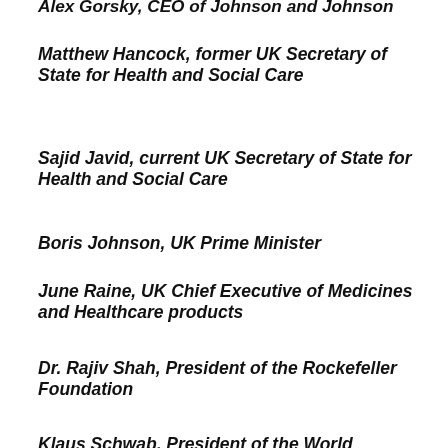Alex Gorsky, CEO of Johnson and Johnson
Matthew Hancock, former UK Secretary of State for Health and Social Care
Sajid Javid, current UK Secretary of State for Health and Social Care
Boris Johnson, UK Prime Minister
June Raine, UK Chief Executive of Medicines and Healthcare products
Dr. Rajiv Shah, President of the Rockefeller Foundation
Klaus Schwab, President of the World Economic Forum